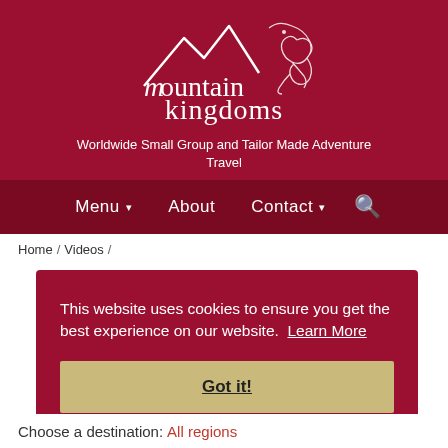[Figure (logo): Mountain Kingdoms logo with mountain peaks and dragon illustration on dark red background]
Worldwide Small Group and Tailor Made Adventure Travel
Menu  About  Contact  Search
Home / Videos /
This website uses cookies to ensure you get the best experience on our website. Learn More
Got it!
Choose a destination: All regions